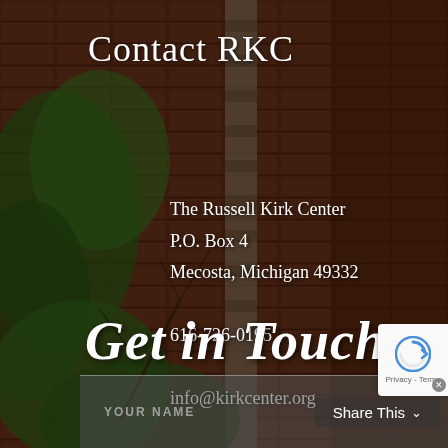[Figure (photo): Background photo of a brick building with trees and foliage in the foreground, dark overlay.]
Contact RKC
The Russell Kirk Center
P.O. Box 4
Mecosta, Michigan 49332

616-726-0195

info@kirkcenter.org
Get in Touch
YOUR NAME
Share This
[Figure (logo): reCAPTCHA badge with refresh icon and Privacy - Terms text]